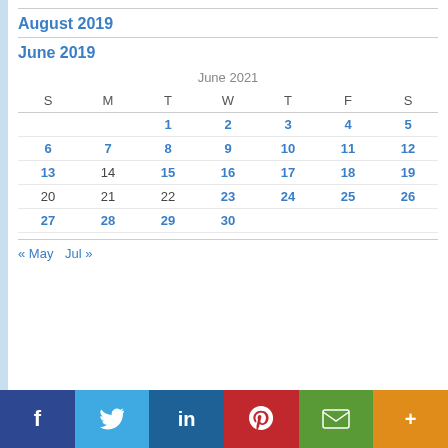August 2019
June 2019
| S | M | T | W | T | F | S |
| --- | --- | --- | --- | --- | --- | --- |
|  |  | 1 | 2 | 3 | 4 | 5 |
| 6 | 7 | 8 | 9 | 10 | 11 | 12 |
| 13 | 14 | 15 | 16 | 17 | 18 | 19 |
| 20 | 21 | 22 | 23 | 24 | 25 | 26 |
| 27 | 28 | 29 | 30 |  |  |  |
« May  Jul »